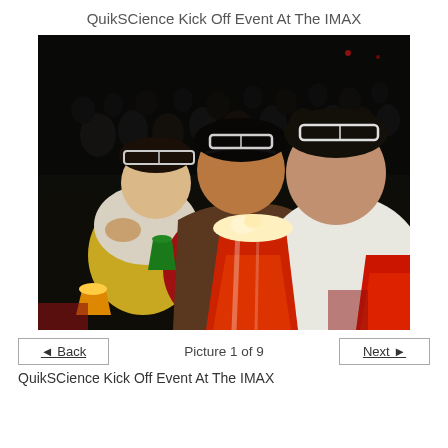QuikSCience Kick Off Event At The IMAX
[Figure (photo): Group of teenagers sitting in an IMAX theater, wearing 3D glasses on their heads, holding popcorn and drinks, with a dark audience visible in the background.]
◄ Back   Picture 1 of 9   Next ►
QuikSCience Kick Off Event At The IMAX